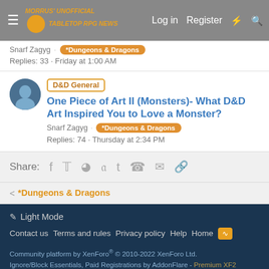Morrus' Unofficial Tabletop RPG News — Log in | Register
Snarf Zagyg · *Dungeons & Dragons
Replies: 33 · Friday at 1:00 AM
D&D General One Piece of Art II (Monsters)- What D&D Art Inspired You to Love a Monster?
Snarf Zagyg · *Dungeons & Dragons
Replies: 74 · Thursday at 2:34 PM
Share: [social icons]
< *Dungeons & Dragons
Light Mode
Contact us · Terms and rules · Privacy policy · Help · Home
Community platform by XenForo® © 2010-2022 XenForo Ltd.
Ignore/Block Essentials, Paid Registrations by AddonFlare - Premium XF2 Addons
UXTR] Modal Popups © 2019 XENTB Development